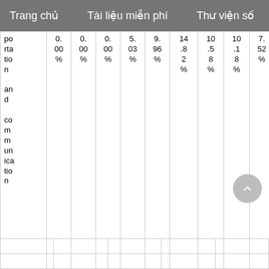Trang chủ    Tài liệu miễn phí    Thư viện số
| portation and communication | 0.00% | 0.00% | 0.00% | 5.03% | 9.96% | 14.82% | 10.58% | 10.18% | 7.52% | 8.45% | 8.07% |